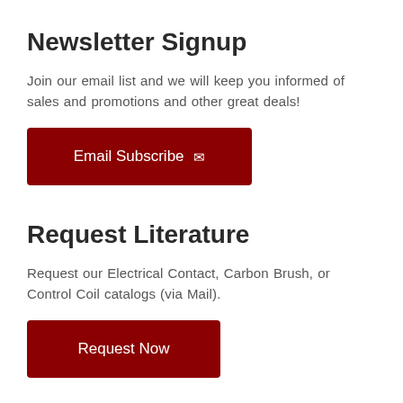Newsletter Signup
Join our email list and we will keep you informed of sales and promotions and other great deals!
[Figure (other): Red button labeled 'Email Subscribe' with envelope icon]
Request Literature
Request our Electrical Contact, Carbon Brush, or Control Coil catalogs (via Mail).
[Figure (other): Red button labeled 'Request Now']